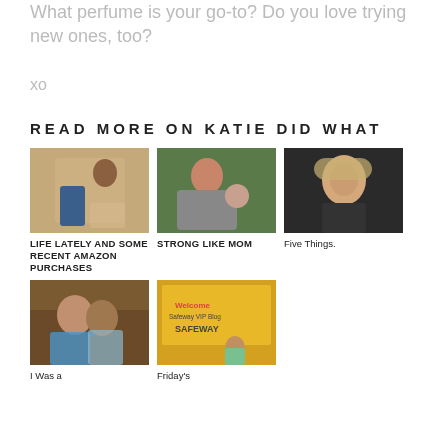What perfume is your go-to? Do you love trying new ones, too?
xo
READ MORE ON KATIE DID WHAT
[Figure (photo): Woman sitting on floor taking a mirror selfie]
LIFE LATELY AND SOME RECENT AMAZON PURCHASES
[Figure (photo): Woman smiling with a baby]
STRONG LIKE MOM
[Figure (photo): Young woman with highlighted hair close-up selfie]
Five Things.
[Figure (photo): Couple, man kissing woman on cheek indoors]
I Was a
[Figure (photo): Welcome Safeway VIP Blogger sign with person standing in front]
Friday's